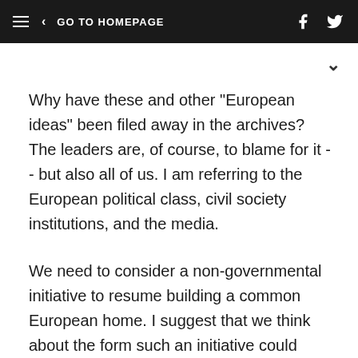≡ < GO TO HOMEPAGE
Why have these and other "European ideas" been filed away in the archives? The leaders are, of course, to blame for it -- but also all of us. I am referring to the European political class, civil society institutions, and the media.
We need to consider a non-governmental initiative to resume building a common European home. I suggest that we think about the form such an initiative could take. I hope that during our discussion ways towards it could be evaluated and specific proposals made.